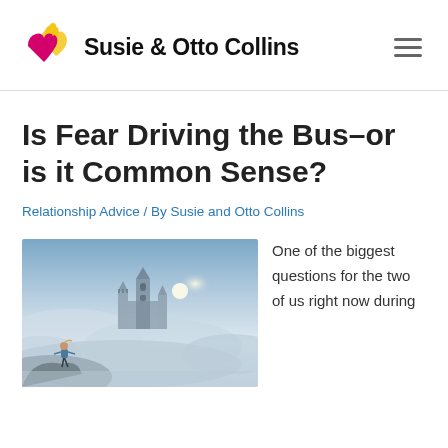Susie & Otto Collins
Is Fear Driving the Bus–or is it Common Sense?
Relationship Advice / By Susie and Otto Collins
[Figure (photo): Person standing on a ledge or cliff edge in front of a misty fantasy castle landscape with dramatic cloudy sky]
One of the biggest questions for the two of us right now during